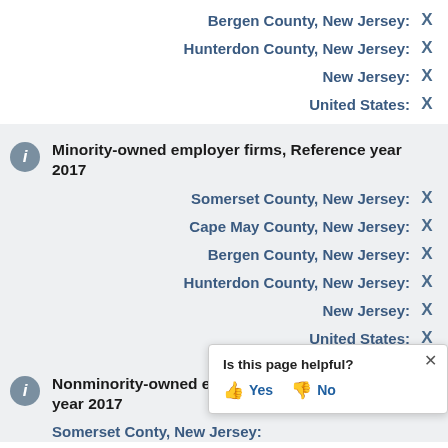Bergen County, New Jersey: X
Hunterdon County, New Jersey: X
New Jersey: X
United States: X
Minority-owned employer firms, Reference year 2017
Somerset County, New Jersey: X
Cape May County, New Jersey: X
Bergen County, New Jersey: X
Hunterdon County, New Jersey: X
New Jersey: X
United States: X
Nonminority-owned employer firms, Reference year 2017
Somerset County, New Jersey: ...